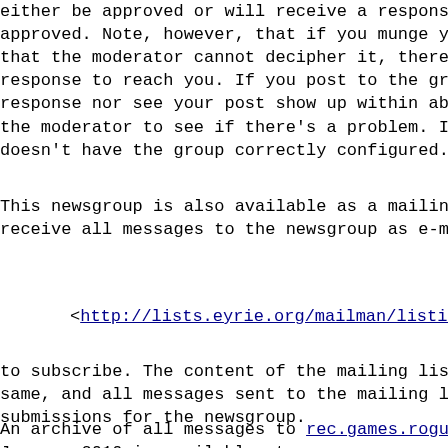either be approved or will receive a response even if approved.  Note, however, that if you munge your address so that the moderator cannot decipher it, there may be no way for a response to reach you.  If you post to the group and receive neither a response nor see your post show up within about a week, contact the moderator to see if there's a problem.  It's possible Usenet doesn't have the group correctly configured.
This newsgroup is also available as a mailing list; you can receive all messages to the newsgroup as e-mail by visiting
<http://lists.eyrie.org/mailman/listinfo/ro
to subscribe.  The content of the mailing list and the newsgroup is the same, and all messages sent to the mailing list are automatically treated as submissions for the newsgroup.
An archive of all messages to rec.games.roguelike since January 2010 is available at:
<http://lists.eyrie.org/pipermail/roguelike